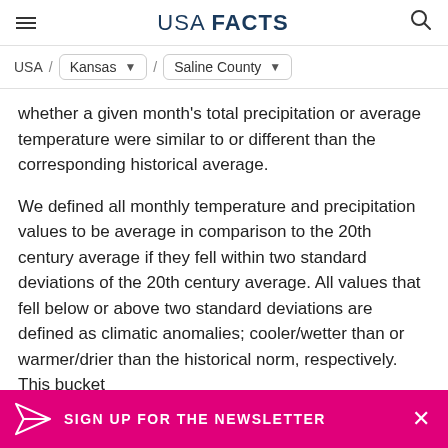USA FACTS
USA / Kansas / Saline County
whether a given month's total precipitation or average temperature were similar to or different than the corresponding historical average.
We defined all monthly temperature and precipitation values to be average in comparison to the 20th century average if they fell within two standard deviations of the 20th century average. All values that fell below or above two standard deviations are defined as climatic anomalies; cooler/wetter than or warmer/drier than the historical norm, respectively. This bucket
SIGN UP FOR THE NEWSLETTER